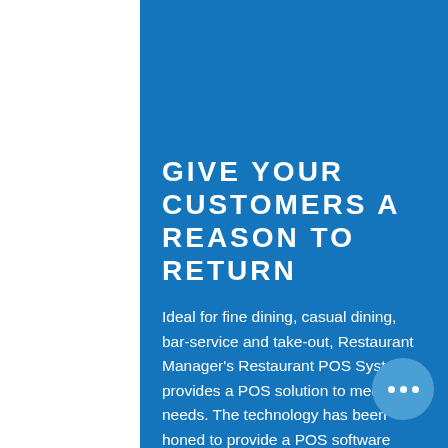GIVE YOUR CUSTOMERS A REASON TO RETURN
Ideal for fine dining, casual dining, bar-service and take-out, Restaurant Manager's Restaurant POS System provides a POS solution to meet your needs. The technology has been honed to provide a POS software package that is fast and flexible. Whether ease-of-use, check splitting or rea...